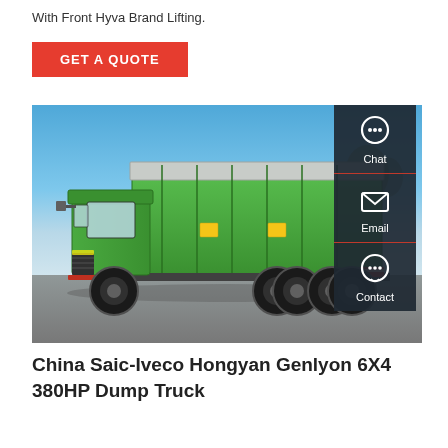With Front Hyva Brand Lifting.
GET A QUOTE
[Figure (photo): Green Saic-Iveco Hongyan Genlyon 6X4 380HP Dump Truck parked on asphalt with blue sky background. The truck has a large green dump body with silver/white cover on top. Red bumper at rear. Black wheels.]
China Saic-Iveco Hongyan Genlyon 6X4 380HP Dump Truck